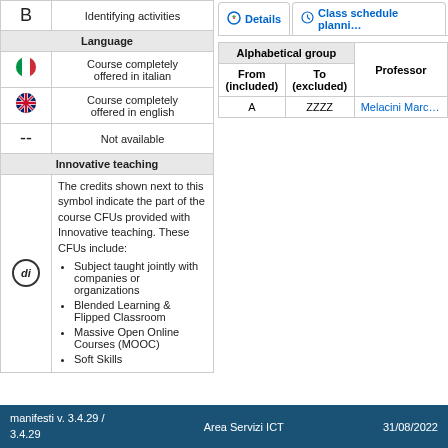|  |  |
| --- | --- |
| B | Identifying activities |
| Language |  |
| 🇮🇹 | Course completely offered in italian |
| 🇬🇧 | Course completely offered in english |
| -- | Not available |
| Innovative teaching |  |
| di | The credits shown next to this symbol indicate the part of the course CFUs provided with Innovative teaching. These CFUs include: Subject taught jointly with companies or organizations; Blended Learning & Flipped Classroom; Massive Open Online Courses (MOOC); Soft Skills |
| Alphabetical group |  | Professor |
| --- | --- | --- |
| From (included) | To (excluded) | Professor |
| A | ZZZZ | Melacini Marc... |
manifesti v. 3.4.29 / 3.4.29    Area Servizi ICT    31/08/2022